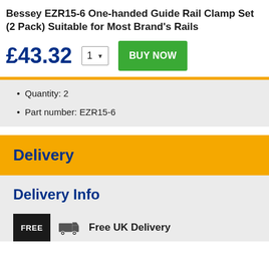Bessey EZR15-6 One-handed Guide Rail Clamp Set (2 Pack) Suitable for Most Brand's Rails
£43.32
Quantity: 2
Part number: EZR15-6
Delivery
Delivery Info
Free UK Delivery